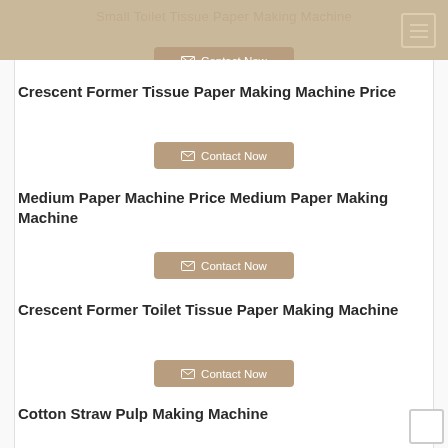Small Toilet Tissue Paper Making Machine
Contact Now
Crescent Former Tissue Paper Making Machine Price
Contact Now
Medium Paper Machine Price Medium Paper Making Machine
Contact Now
Crescent Former Toilet Tissue Paper Making Machine
Contact Now
Cotton Straw Pulp Making Machine
Contact Now